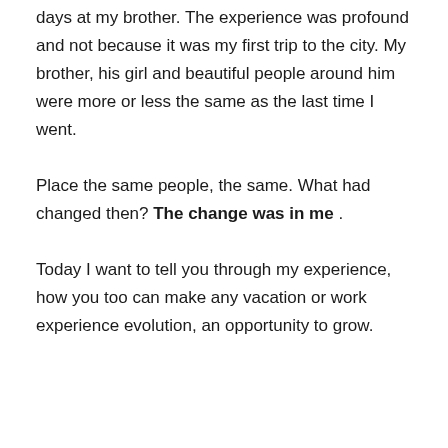days at my brother. The experience was profound and not because it was my first trip to the city. My brother, his girl and beautiful people around him were more or less the same as the last time I went.
Place the same people, the same. What had changed then? The change was in me .
Today I want to tell you through my experience, how you too can make any vacation or work experience evolution, an opportunity to grow.